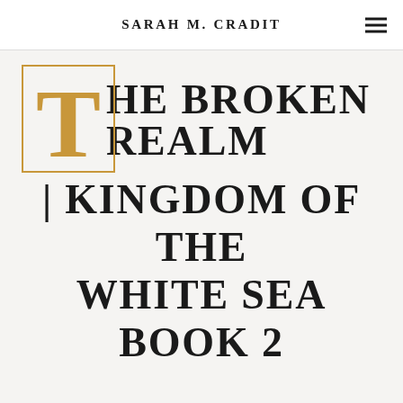SARAH M. CRADIT
THE BROKEN REALM | KINGDOM OF THE WHITE SEA BOOK 2